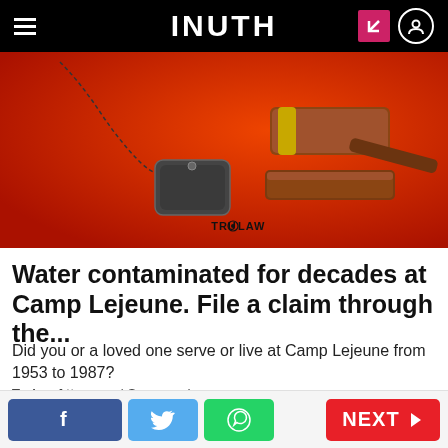INUTH
[Figure (photo): Red background with a judge's gavel on a sound block and a military dog tag on a chain. TruLaw logo visible at the bottom center of the image.]
Water contaminated for decades at Camp Lejeune. File a claim through the...
Did you or a loved one serve or live at Camp Lejeune from 1953 to 1987?
Trulaw Attorneys | Sponsored